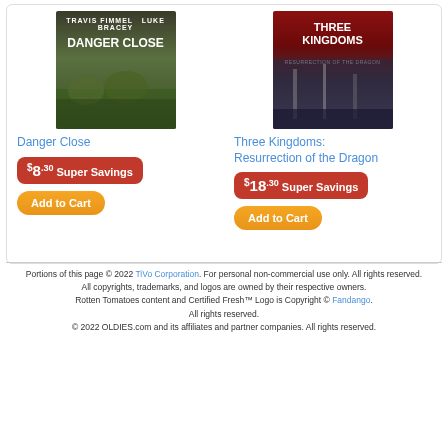[Figure (illustration): Movie poster for Danger Close featuring soldiers in a field with text TRAVIS FIMMEL and LUKE BRACEY at top]
Danger Close
$8.30 Super Savings
Add to Cart
[Figure (illustration): Movie poster for Three Kingdoms: Resurrection of the Dragon with red banner and battle scene]
Three Kingdoms: Resurrection of the Dragon
$18.30 Super Savings
Add to Cart
Portions of this page © 2022 TiVo Corporation. For personal non-commercial use only. All rights reserved. All copyrights, trademarks, and logos are owned by their respective owners. Rotten Tomatoes content and Certified Fresh™ Logo is Copyright © Fandango. All rights reserved. © 2022 OLDIES.com and its affiliates and partner companies. All rights reserved.